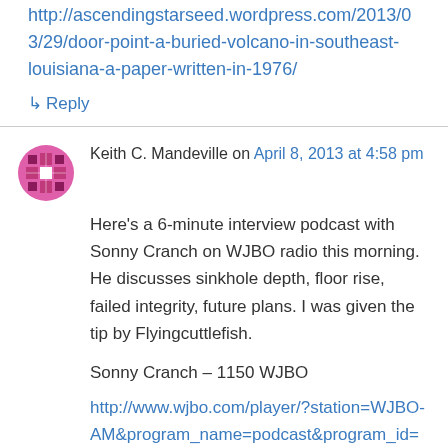http://ascendingstarseed.wordpress.com/2013/03/29/door-point-a-buried-volcano-in-southeast-louisiana-a-paper-written-in-1976/
↳ Reply
Keith C. Mandeville on April 8, 2013 at 4:58 pm
Here's a 6-minute interview podcast with Sonny Cranch on WJBO radio this morning. He discusses sinkhole depth, floor rise, failed integrity, future plans. I was given the tip by Flyingcuttlefish.
Sonny Cranch – 1150 WJBO
http://www.wjbo.com/player/?station=WJBO-AM&program_name=podcast&program_id=morn